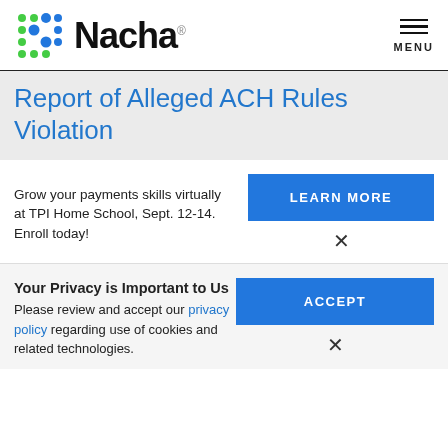Nacha — MENU
Report of Alleged ACH Rules Violation
Grow your payments skills virtually at TPI Home School, Sept. 12-14. Enroll today!
LEARN MORE
Your Privacy is Important to Us
Please review and accept our privacy policy regarding use of cookies and related technologies.
ACCEPT